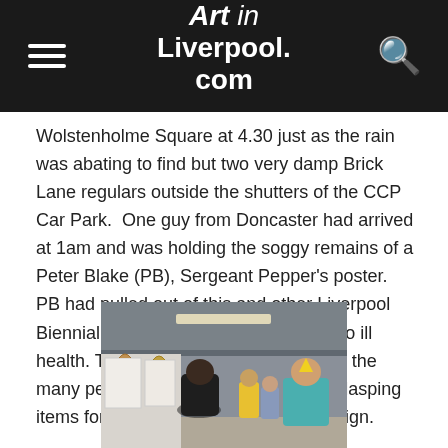Art in Liverpool.com
Wolstenholme Square at 4.30 just as the rain was abating to find but two very damp Brick Lane regulars outside the shutters of the CCP Car Park.  One guy from Doncaster had arrived at 1am and was holding the soggy remains of a Peter Blake (PB), Sergeant Pepper's poster. PB had pulled out of this and other Liverpool Biennial events at the last minute due to ill health. The news had come too late for the many people who continued to arrive clasping items for the 'Godfather of Pop Art' to sign.
[Figure (photo): Interior photo of a venue with people standing, white panels/artwork visible on the left, ceiling with lighting visible above, people including one in a teal jacket on the right.]